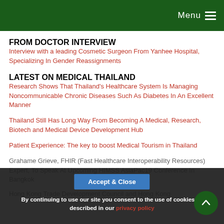Menu
FROM DOCTOR INTERVIEW
Interview with a leading Cosmetic Surgeon From Yanhee Hospital, Specializing In Gender Reassignments
LATEST ON MEDICAL THAILAND
Research Shows That Thailand's Healthcare System Is Managing Noncommunicable Chronic Diseases Such As Diabetes In An Excellent Manner
Thailand Still Has Long Way From Becoming A Medical, Research, Biotech and Medical Device Development Hub
Patient Experience: The key to boost Medical Tourism in Thailand
Grahame Grieve, FHIR (Fast Healthcare Interoperability Resources) Expert, To Speak At Upcoming HIMSS AsiaPac19 Conference In Bangkok
Hong Kong Trade Development Council and Hong Kong
By continuing to use our site you consent to the use of cookies as described in our privacy policy